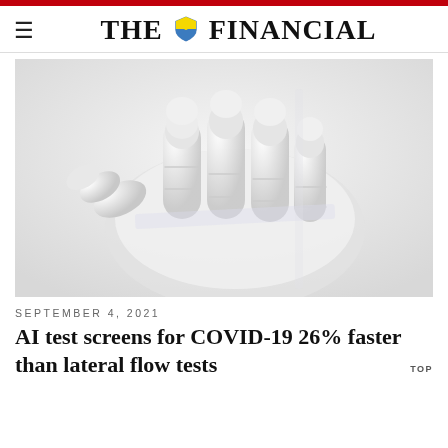THE FINANCIAL
[Figure (photo): Close-up photograph of a white robotic hand with articulated finger segments resting on a white surface, high-key lighting giving an all-white appearance.]
SEPTEMBER 4, 2021
AI test screens for COVID-19 26% faster than lateral flow tests